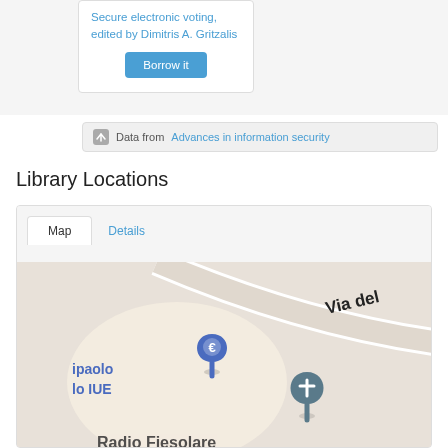Secure electronic voting, edited by Dimitris A. Gritzalis
Borrow it
Data from Advances in information security
Library Locations
[Figure (map): Map view showing library location markers near 'ipaolo lo IUE' area with 'Via del' road label, blue euro-sign location pin and a grey cross/church location pin, and 'Radio Fiesolare' text partially visible at bottom]